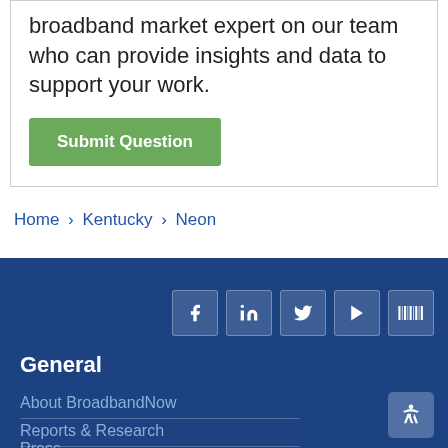broadband market expert on our team who can provide insights and data to support your work.
Submit Question
Home › Kentucky › Neon
[Figure (illustration): Social media icons: Facebook, LinkedIn, Twitter, YouTube, Wikidata]
General
About BroadbandNow
Reports & Research
Press